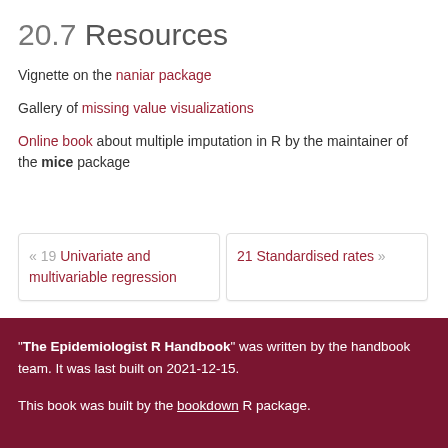20.7 Resources
Vignette on the naniar package
Gallery of missing value visualizations
Online book about multiple imputation in R by the maintainer of the mice package
« 19 Univariate and multivariable regression
21 Standardised rates »
"The Epidemiologist R Handbook" was written by the handbook team. It was last built on 2021-12-15.
This book was built by the bookdown R package.